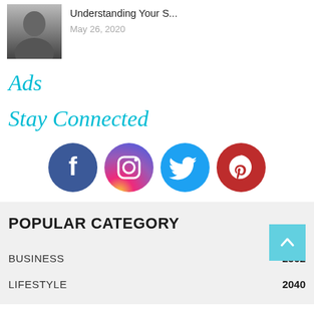[Figure (photo): Black and white portrait photo of a person, partially cropped]
Understanding Your S...
May 26, 2020
Ads
Stay Connected
[Figure (infographic): Four social media circular icons: Facebook (dark blue), Instagram (gradient purple-orange), Twitter (blue), Pinterest (red)]
POPULAR CATEGORY
BUSINESS   2562
LIFESTYLE   2040